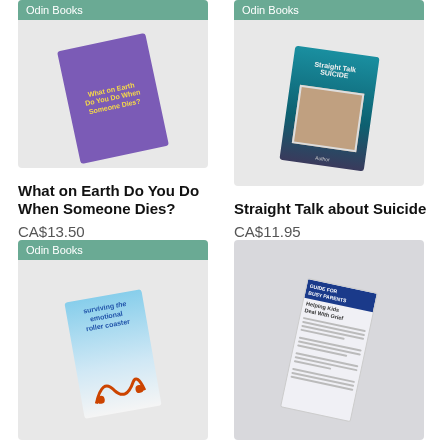[Figure (photo): Book cover: What on Earth Do You Do When Someone Dies? - purple children's book with illustration of children]
What on Earth Do You Do When Someone Dies?
CA$13.50
[Figure (photo): Book cover: Straight Talk about Suicide - teal/dark book with silhouettes and a photo of a person]
Straight Talk about Suicide
CA$11.95
[Figure (photo): Book cover: Surviving the Emotional Roller Coaster - blue sky book with roller coaster illustration]
[Figure (photo): Brochure: Guide for Busy Parents - Helping Kids Deal With Grief, blue header with text content]